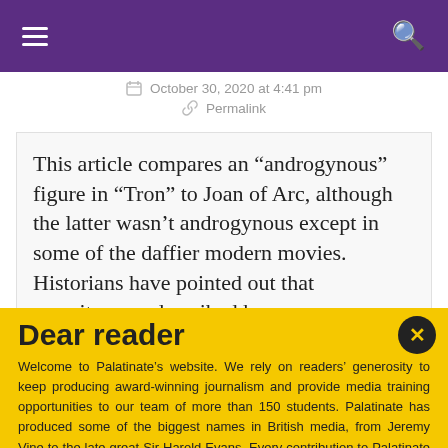Navigation header with hamburger menu and search icon
October 30, 2020 at 4:41 pm
Permalink
This article compares an “androgynous” figure in “Tron” to Joan of Arc, although the latter wasn’t androgynous except in some of the daffier modern movies. Historians have pointed out that eyewitnesses described her as
Dear reader
Welcome to Palatinate’s website. We rely on readers’ generosity to keep producing award-winning journalism and provide media training opportunities to our team of more than 150 students. Palatinate has produced some of the biggest names in British media, from Jeremy Vine to the late great Sir Harold Evans. Every contribution to Palatinate is an investment into the future of journalism.
Donate